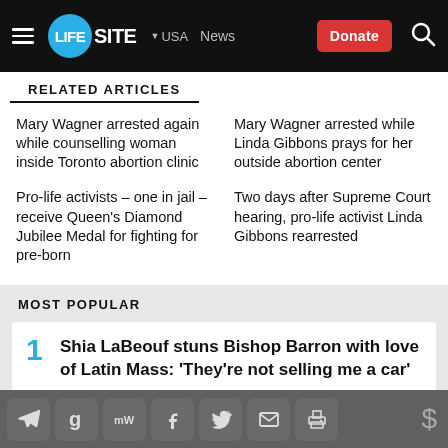LifeSite | USA | News | Donate
RELATED ARTICLES
Mary Wagner arrested again while counselling woman inside Toronto abortion clinic
Mary Wagner arrested while Linda Gibbons prays for her outside abortion center
Pro-life activists – one in jail – receive Queen's Diamond Jubilee Medal for fighting for pre-born
Two days after Supreme Court hearing, pro-life activist Linda Gibbons rearrested
MOST POPULAR
1. Shia LaBeouf stuns Bishop Barron with love of Latin Mass: 'They're not selling me a car'
Social share toolbar icons: Telegram, Gettr, MeWe, Facebook, Twitter, Email, Print | Donate